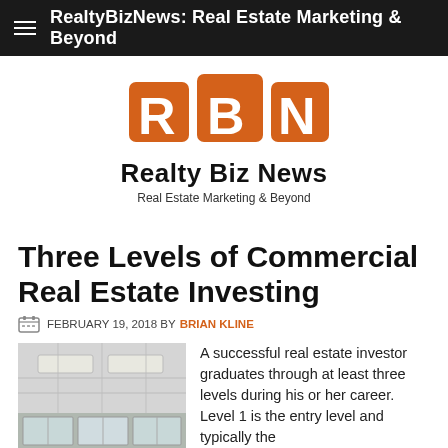RealtyBizNews: Real Estate Marketing & Beyond
[Figure (logo): RealtyBizNews logo with orange R, B, N letter blocks and text 'Realty Biz News - Real Estate Marketing & Beyond']
Three Levels of Commercial Real Estate Investing
FEBRUARY 19, 2018 BY BRIAN KLINE
[Figure (photo): Interior photo of a commercial office space with ceiling lights and windows]
A successful real estate investor graduates through at least three levels during his or her career. Level 1 is the entry level and typically the